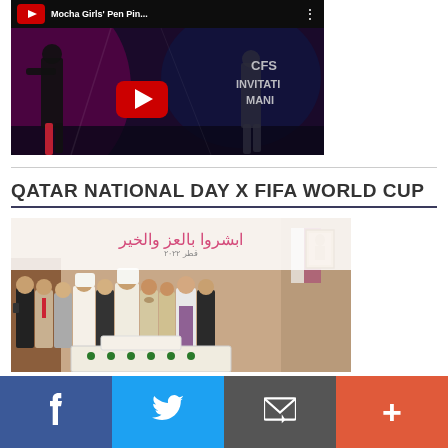[Figure (screenshot): YouTube video thumbnail showing 'Mocha Girls Pen Pin...' title with a red play button, performers on stage in background, CFS INVITATI MANI text visible on right side]
QATAR NATIONAL DAY X FIFA WORLD CUP
[Figure (photo): Group photo at Qatar National Day event. Arabic text banner in background reading in pink. A group of approximately 11 people standing in formal attire including traditional Qatari dress, barong tagalog, suits, and religious vestments, in front of a celebration cake. Qatar flag visible on right side along with a portrait photo on wall.]
f  Twitter bird icon  Email icon  +